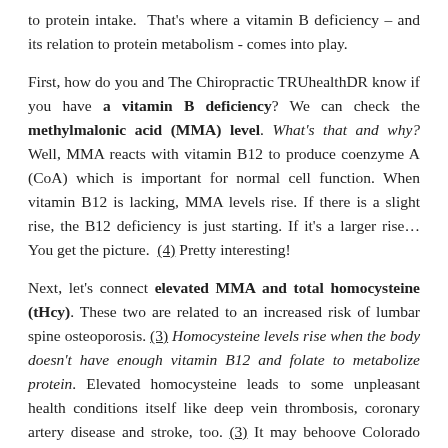to protein intake. That's where a vitamin B deficiency – and its relation to protein metabolism - comes into play.
First, how do you and The Chiropractic TRUhealthDR know if you have a vitamin B deficiency? We can check the methylmalonic acid (MMA) level. What's that and why? Well, MMA reacts with vitamin B12 to produce coenzyme A (CoA) which is important for normal cell function. When vitamin B12 is lacking, MMA levels rise. If there is a slight rise, the B12 deficiency is just starting. If it's a larger rise... You get the picture. (4) Pretty interesting!
Next, let's connect elevated MMA and total homocysteine (tHcy). These two are related to an increased risk of lumbar spine osteoporosis. (3) Homocysteine levels rise when the body doesn't have enough vitamin B12 and folate to metabolize protein. Elevated homocysteine leads to some unpleasant health conditions itself like deep vein thrombosis, coronary artery disease and stroke, too. (3) It may behoove Colorado Springs chiropractic and other folks to be sure their tHcy is checked. So, bottomline, protein metabolism relies in part on